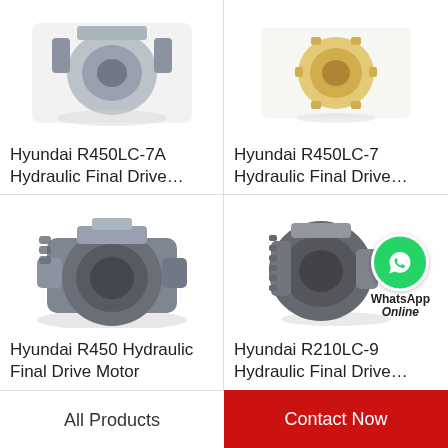[Figure (photo): Hyundai R450LC-7A Hydraulic Final Drive product photo (top-left, partially cropped)]
Hyundai R450LC-7A Hydraulic Final Drive…
[Figure (photo): Hyundai R450LC-7 Hydraulic Final Drive product photo (top-right, partially cropped)]
Hyundai R450LC-7 Hydraulic Final Drive…
[Figure (photo): Hyundai R450 Hydraulic Final Drive Motor product photo]
Hyundai R450 Hydraulic Final Drive Motor
[Figure (photo): Hyundai R210LC-9 Hydraulic Final Drive product photo with WhatsApp Online badge overlay]
Hyundai R210LC-9 Hydraulic Final Drive…
All Products
Contact Now